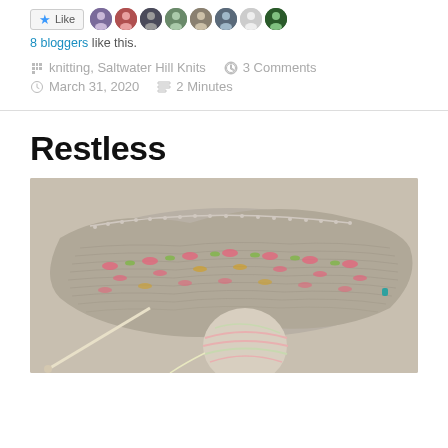[Figure (other): Like button with star icon, followed by user avatar thumbnails]
8 bloggers like this.
knitting, Saltwater Hill Knits   3 Comments
March 31, 2020   2 Minutes
Restless
[Figure (photo): Photo of an in-progress knitting project — a grey knitted piece with pink and yellow colorwork pattern on circular needles, with a ball of variegated yarn resting on top of the work, laid on a light surface.]